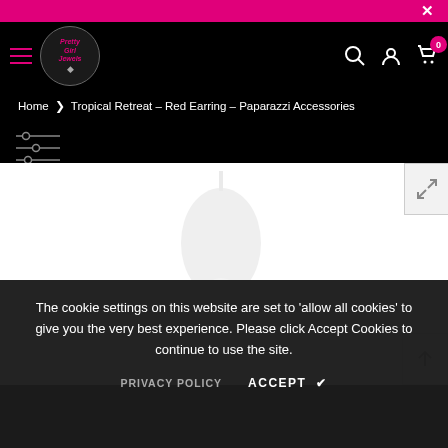×
[Figure (logo): Pretty Girl Jewels logo with circular emblem and pink italic text]
Home > Tropical Retreat - Red Earring - Paparazzi Accessories
[Figure (illustration): Filter/sort icon with three horizontal lines and adjustment dots]
[Figure (photo): Product image area showing red earring - currently loading/blank]
The cookie settings on this website are set to 'allow all cookies' to give you the very best experience. Please click Accept Cookies to continue to use the site.
PRIVACY POLICY   ACCEPT ✔